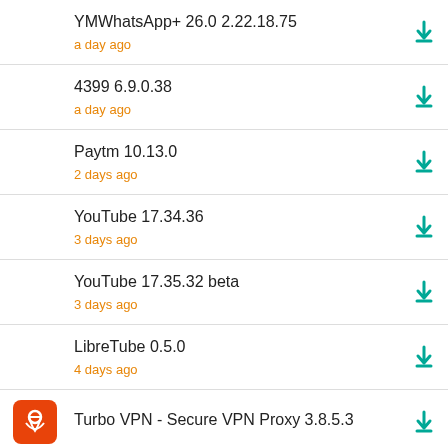YMWhatsApp+ 26.0 2.22.18.75 — a day ago
4399 6.9.0.38 — a day ago
Paytm 10.13.0 — 2 days ago
YouTube 17.34.36 — 3 days ago
YouTube 17.35.32 beta — 3 days ago
LibreTube 0.5.0 — 4 days ago
Turbo VPN - Secure VPN Proxy 3.8.5.3